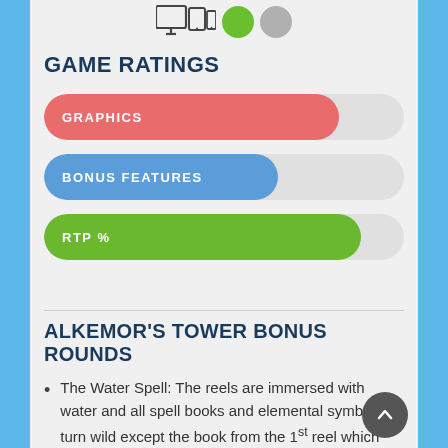[Figure (infographic): Device icons (desktop, tablet, phone) and two circles (green filled, gray filled) representing platform compatibility]
GAME RATINGS
[Figure (infographic): Three horizontal rating bars: GRAPHICS (red, ~82%), BONUS FEATURES (blue, ~65%), RTP % (green, ~88%)]
ALKEMOR'S TOWER BONUS ROUNDS
The Water Spell: The reels are immersed with water and all spell books and elemental symbol turn wild except the book from the 1st reel which transforms into a random symbol. The payouts are recalculated.